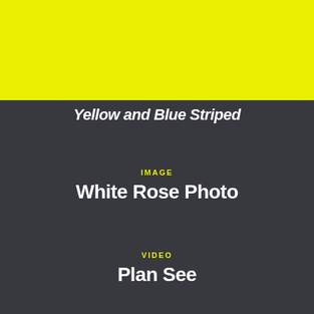[Figure (other): Solid bright yellow/green rectangular block filling the top portion of the page]
Yellow and Blue Striped
IMAGE
White Rose Photo
VIDEO
Plan See